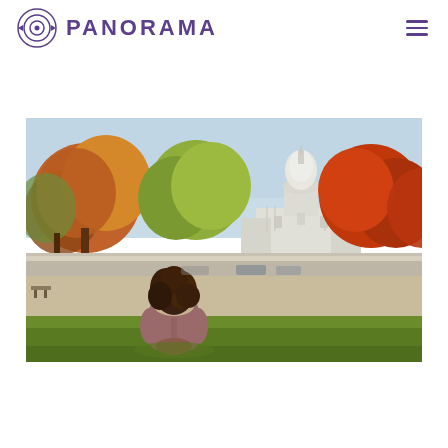PANORAMA
[Figure (photo): A woman with curly hair wearing a winter jacket sits on a grassy lawn facing away from the camera, looking toward the US Capitol building in the background, surrounded by autumn foliage trees on a clear sunny day.]